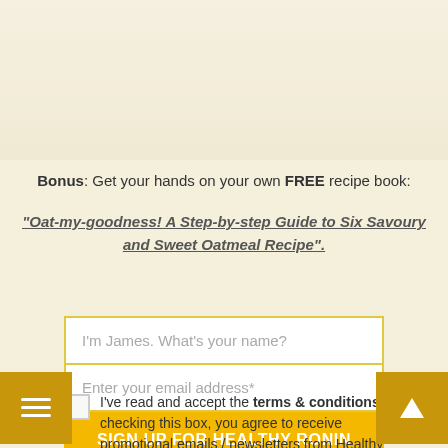Bonus: Get your hands on your own FREE recipe book:
"Oat-my-goodness! A Step-by-step Guide to Six Savoury and Sweet Oatmeal Recipe".
I'm James. What's your name? [input field]
Enter your email address* [input field]
SIGN UP FOR HEALTHY RONIN SCROLLS! [button]
I've read and accept the terms & conditions. By checking this box, you agree to receive promotional emails / newsletters from Healthy Ronin. You can unsubscribe at any time.